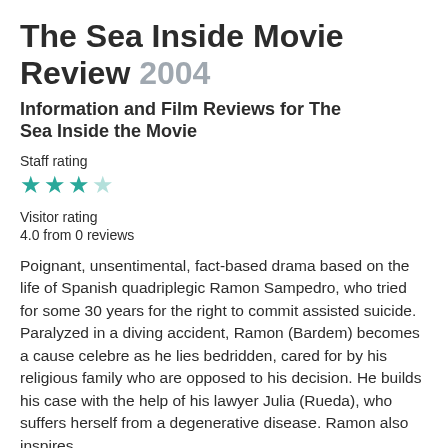The Sea Inside Movie Review 2004
Information and Film Reviews for The Sea Inside the Movie
Staff rating
[Figure (other): 3 out of 4 stars rating: three filled teal stars and one empty/outline teal star]
Visitor rating
4.0 from 0 reviews
Poignant, unsentimental, fact-based drama based on the life of Spanish quadriplegic Ramon Sampedro, who tried for some 30 years for the right to commit assisted suicide. Paralyzed in a diving accident, Ramon (Bardem) becomes a cause celebre as he lies bedridden, cared for by his religious family who are opposed to his decision. He builds his case with the help of his lawyer Julia (Rueda), who suffers herself from a degenerative disease. Ramon also inspires